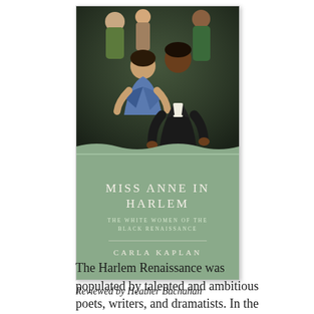[Figure (illustration): Book cover of 'Miss Anne in Harlem: The White Women of the Black Renaissance' by Carla Kaplan. The cover shows a group of figures including a woman with a blue shawl and a man in a suit against a dark background. The lower half is sage green with the title in large spaced white letters and the author's name below.]
Reviewed by Heather Buchanan
The Harlem Renaissance was populated by talented and ambitious poets, writers, and dramatists. In the